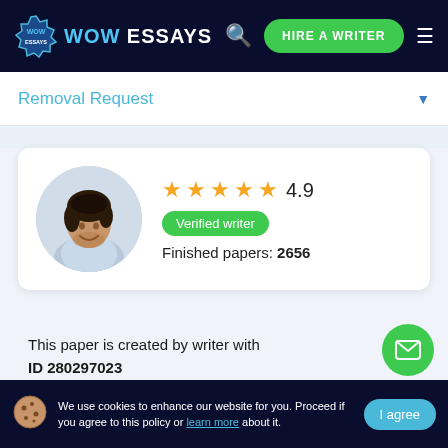[Figure (logo): WowEssays logo with star burst shape on dark navy header]
WOW ESSAYS | Search | HIRE A WRITER | Menu
Removal Request
[Figure (photo): Circular profile photo of a young man with dark curly hair smiling, wearing a light blue shirt]
★★★★★ 4.9
Verified writer
Finished papers: 2656
This paper is created by writer with ID 280297023
If you want your paper to be:
We use cookies to enhance our website for you. Proceed if you agree to this policy or learn more about it.